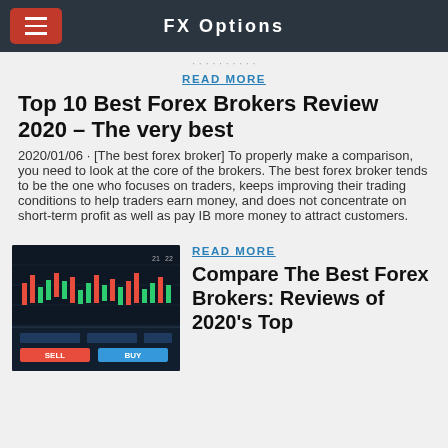FX Options
READ MORE
Top 10 Best Forex Brokers Review 2020 – The very best
2020/01/06 · [The best forex broker] To properly make a comparison, you need to look at the core of the brokers. The best forex broker tends to be the one who focuses on traders, keeps improving their trading conditions to help traders earn money, and does not concentrate on short-term profit as well as pay IB more money to attract customers.
[Figure (screenshot): Screenshot of a forex trading platform with candlestick charts, green and red bars, and trading interface elements on dark background]
READ MORE
Compare The Best Forex Brokers: Reviews of 2020's Top